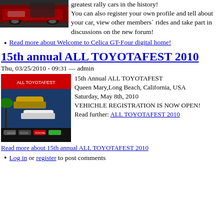[Figure (photo): Photo of red Toyota Celica GT-Four rally cars parked in a lot]
greatest rally cars in the history! You can also register your own profile and tell about your car, view other members` rides and take part in discussions on the new forum!
Read more about Welcome to Celica GT-Four digital home!
15th annual ALL TOYOTAFEST 2010
Thu, 03/25/2010 - 09:31 — admin
[Figure (photo): Event flyer for 15th Annual ALL TOYOTAFEST at Queen Mary, Long Beach, California showing various Toyota vehicles]
15th Annual ALL TOYOTAFEST Queen Mary,Long Beach, California, USA Saturday, May 8th, 2010 VEHICHLE REGISTRATION IS NOW OPEN! Read further: ALL TOYOTAFEST 2010
Read more about 15th annual ALL TOYOTAFEST 2010
Log in or register to post comments